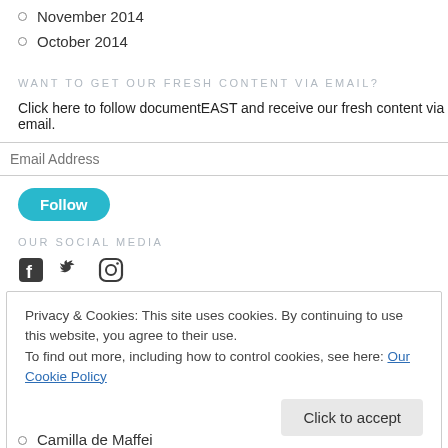November 2014
October 2014
WANT TO GET OUR FRESH CONTENT VIA EMAIL?
Click here to follow documentEAST and receive our fresh content via email.
Email Address
Follow
OUR SOCIAL MEDIA
[Figure (illustration): Social media icons: Facebook, Twitter, Instagram]
Privacy & Cookies: This site uses cookies. By continuing to use this website, you agree to their use. To find out more, including how to control cookies, see here: Our Cookie Policy
Click to accept
Camilla de Maffei